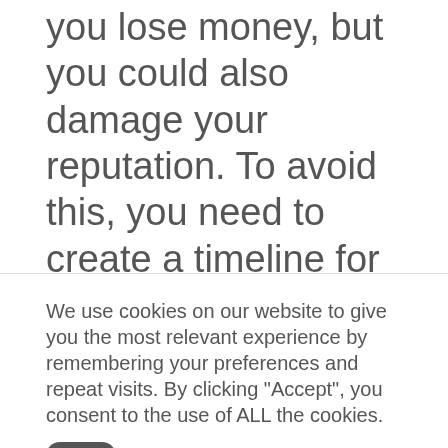you lose money, but you could also damage your reputation. To avoid this, you need to create a timeline for each project and make sure that everyone involved knows about it. You should even have a contingency arrangement in situ just in case one thing goes wrong. This will help to ensure that you have a solution in case of unfortunate events.
We use cookies on our website to give you the most relevant experience by remembering your preferences and repeat visits. By clicking "Accept", you consent to the use of ALL the cookies.
settings
ACCEPT